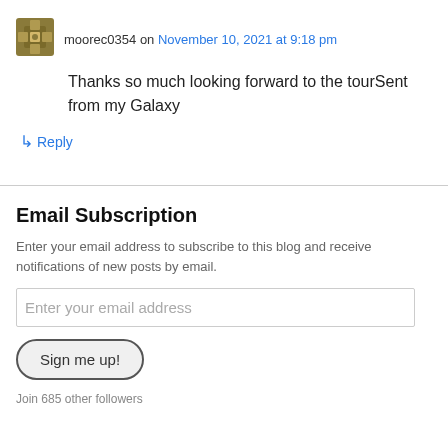moorec0354 on November 10, 2021 at 9:18 pm
Thanks so much looking forward to the tourSent from my Galaxy
↳ Reply
Email Subscription
Enter your email address to subscribe to this blog and receive notifications of new posts by email.
Enter your email address
Sign me up!
Join 685 other followers